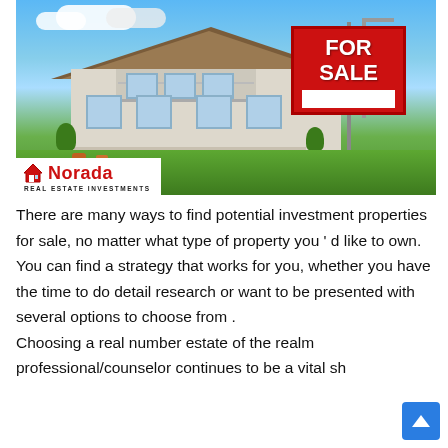[Figure (photo): Photo of a modern residential house with a large 'FOR SALE' sign in the front yard. The house has a sloped roof, balcony, and large windows. The Norada Real Estate Investments logo appears in the bottom-left corner of the image.]
There are many ways to find potential investment properties for sale, no matter what type of property you ' d like to own. You can find a strategy that works for you, whether you have the time to do detail research or want to be presented with several options to choose from . Choosing a real number estate of the realm professional/counselor continues to be a vital share